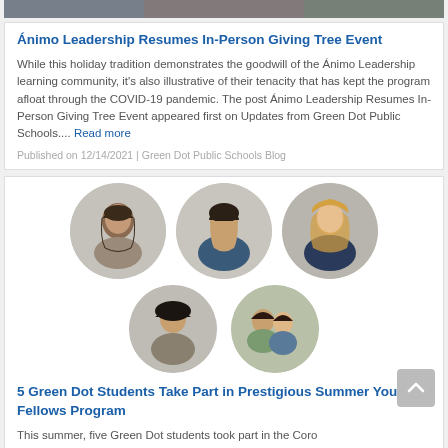[Figure (photo): Partial view of group photo at top of page, showing people]
Ánimo Leadership Resumes In-Person Giving Tree Event
While this holiday tradition demonstrates the goodwill of the Ánimo Leadership learning community, it's also illustrative of their tenacity that has kept the program afloat through the COVID-19 pandemic. The post Ánimo Leadership Resumes In-Person Giving Tree Event appeared first on Updates from Green Dot Public Schools.... Read more
Published on 12/14/2021 | Green Dot Public Schools Blog
[Figure (photo): Grid of five student portrait photos in circular frames — three in top row, two in bottom row]
5 Green Dot Students Take Part in Prestigious Summer Youth Fellows Program
This summer, five Green Dot students took part in the Coro